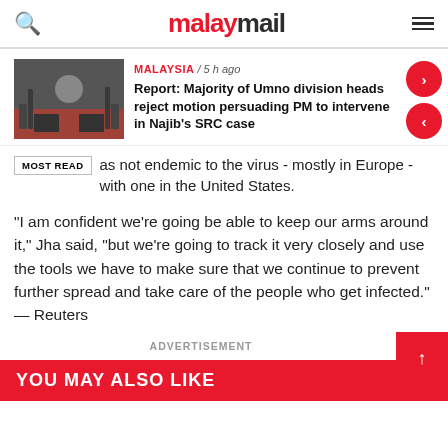malaymail
[Figure (screenshot): Malay Mail news article card showing a thumbnail image of people in a press conference setting, with category tag MALAYSIA / 5 h ago and headline: Report: Majority of Umno division heads reject motion persuading PM to intervene in Najib's SRC case]
as not endemic to the virus - mostly in Europe - with one in the United States.
"I am confident we're going be able to keep our arms around it," Jha said, "but we're going to track it very closely and use the tools we have to make sure that we continue to prevent further spread and take care of the people who get infected." — Reuters
ADVERTISEMENT
YOU MAY ALSO LIKE